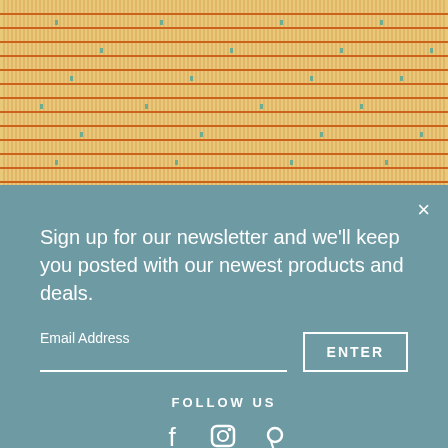[Figure (photo): Close-up photo of woven fabric/textile with horizontal orange/rust colored stripes on a beige/tan background with small turquoise/teal dots scattered throughout]
Sign up for our newsletter and we'll keep you posted with our newest products and deals.
Email Address
ENTER
FOLLOW US